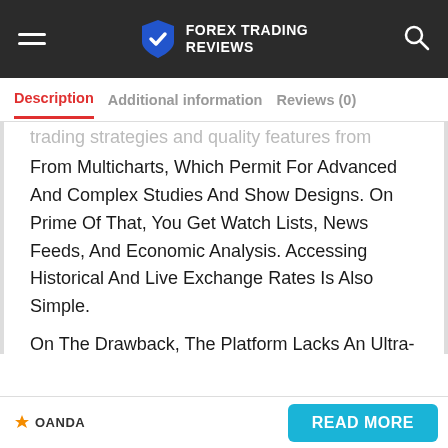FOREX TRADING REVIEWS
Description | Additional information | Reviews (0)
From Multicharts, Which Permit For Advanced And Complex Studies And Show Designs. On Prime Of That, You Get Watch Lists, News Feeds, And Economic Analysis. Accessing Historical And Live Exchange Rates Is Also Simple.
On The Drawback, The Platform Lacks An Ultra-modern Look And A Few Functions Are Awkward To Use. Rather Than Having The
[Figure (logo): OANDA logo with orange asterisk icon]
READ MORE